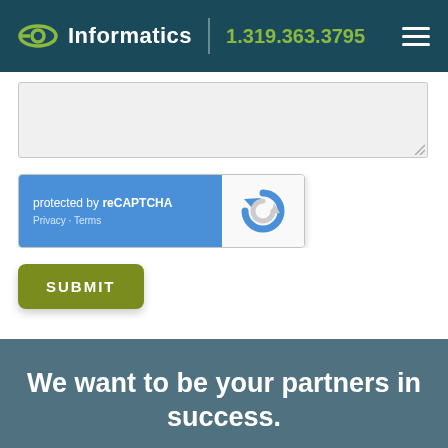Informatics 1.319.363.3795
[Figure (screenshot): Text area input field, partially visible at top of form]
[Figure (screenshot): reCAPTCHA widget with blue background showing 'protected by reCAPTCHA' and Privacy - Terms links, with reCAPTCHA logo on right]
[Figure (screenshot): Olive green SUBMIT button with rounded corners]
We want to be your partners in success.
One simple conversation can change your